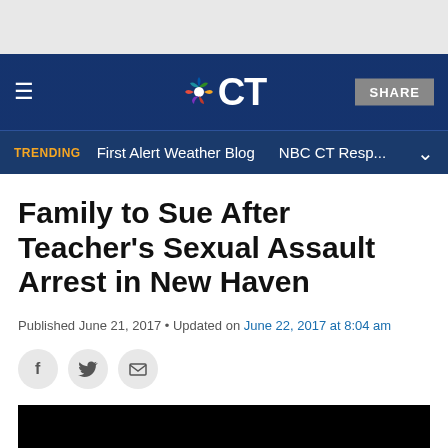NBC CT — SHARE | TRENDING First Alert Weather Blog | NBC CT Resp...
Family to Sue After Teacher's Sexual Assault Arrest in New Haven
Published June 21, 2017 • Updated on June 22, 2017 at 8:04 am
[Figure (screenshot): Black video thumbnail placeholder]